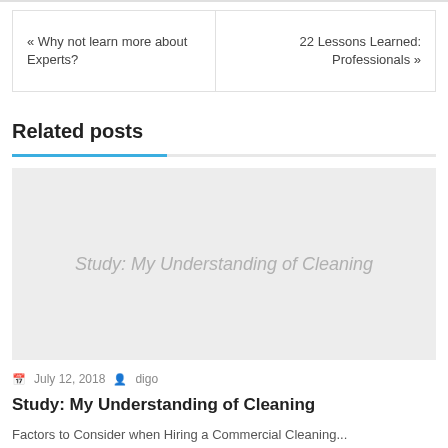« Why not learn more about Experts?	22 Lessons Learned: Professionals »
Related posts
[Figure (other): Placeholder image with text 'Study: My Understanding of Cleaning' in light gray on gray background]
July 12, 2018   digo
Study: My Understanding of Cleaning
Factors to Consider when Hiring a Commercial Cleaning...